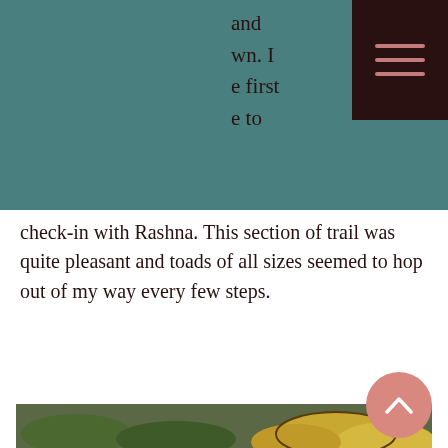[Figure (photo): Teal/dark teal header bar covering top portion of page, with dark brown hamburger menu icon in top right corner]
and wn. I e first e to check-in with Rashna. This section of trail was quite pleasant and toads of all sizes seemed to hop out of my way every few steps.
[Figure (photo): Close-up photo of rocks, moss, leaves and forest floor debris on a hiking trail]
[Figure (photo): Photo of bracket fungi/shelf mushrooms growing on a log, with green foliage in background]